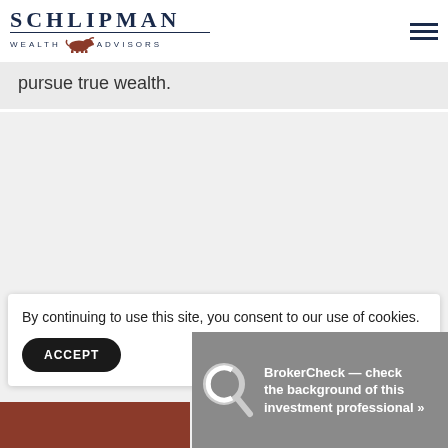SCHLIPMAN WEALTH ADVISORS
pursue true wealth.
By continuing to use this site, you consent to our use of cookies.
ACCEPT
BrokerCheck — check the background of this investment professional »